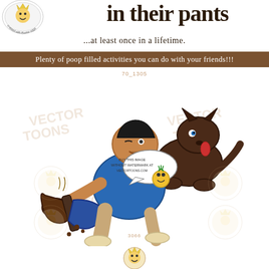[Figure (logo): Circular logo top left with text around edge reading 'created with Easter eggs']
in their pants
...at least once in a lifetime.
Plenty of poop filled activities you can do with your friends!!!
[Figure (illustration): Cartoon illustration of a man in a blue shirt kneeling on the ground holding a large dark brown object (poop/scat) with a dark brown dog standing behind him. The man has a speech bubble with watermark text. Multiple VectorToons watermarks overlay the image.]
[Figure (logo): VectorToons logo at bottom center, showing a cartoon face/emoji character]